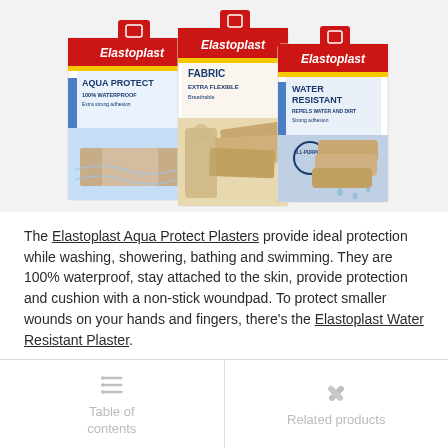[Figure (photo): Three Elastoplast product boxes side by side: Aqua Protect (100% waterproof, extra strong adhesion), Fabric (extra flexible, breathable), and Water Resistant (repels water and dirt, strong adhesion, all-purpose). Each box has a red header with the Elastoplast brand name, a yellow stripe, and product imagery.]
The Elastoplast Aqua Protect Plasters provide ideal protection while washing, showering, bathing and swimming. They are 100% waterproof, stay attached to the skin, provide protection and cushion with a non-stick woundpad. To protect smaller wounds on your hands and fingers, there's the Elastoplast Water Resistant Plaster.
[Figure (infographic): Two navigation tiles at the bottom: 'Table of contents' with a list icon, and 'Related products' with a bandage/plaster icon. Both icons and labels are in light gray.]